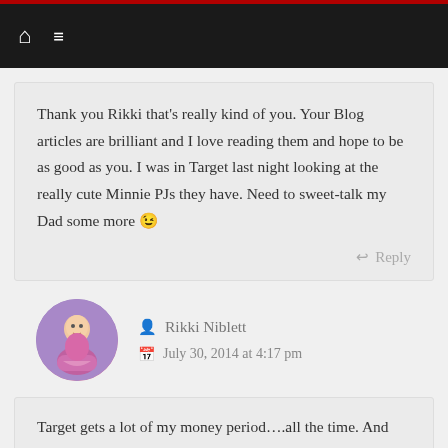Navigation bar with home and menu icons
Thank you Rikki that's really kind of you. Your Blog articles are brilliant and I love reading them and hope to be as good as you. I was in Target last night looking at the really cute Minnie PJs they have. Need to sweet-talk my Dad some more 😉
↩ Reply
[Figure (photo): Circular avatar photo of Rikki Niblett, a girl in a pink and purple dress posing]
Rikki Niblett
July 30, 2014 at 4:17 pm
Target gets a lot of my money period….all the time. And thank you for the sweet words about my posts as well.